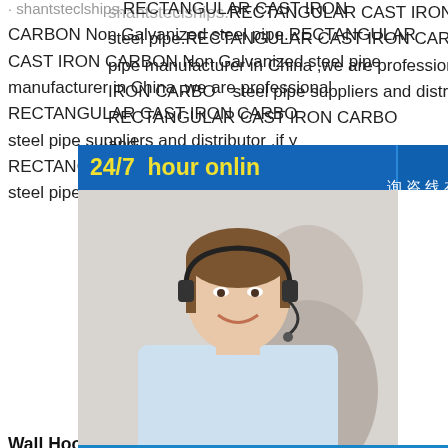shantsteclships.RECTANGULAR CAST IRON CARBON Non Galvanized steel pipe.RECTANGULAR CAST IRON CARBON Non Galvanized steel pipe manufacturer in China ,we are professional RECTANGULAR CAST IRON CARBON Non Galvanized steel pipe suppliers and distributor ,if you need RECTANGULAR CAST IRON CARBON Non Galvanized steel pipe price and
Wall Hook Anti Collision Door Stopper
Brand New A brand-new,unused,unopened, undamaged item in its original packaging (where packaging is applicable).Packaging should be the same as what is available in a retail store,unless the item was packaged by the manufacturer in non-retail packaging,such as an unprinted box or plastic bag. Made of stainless steel,stableWhat is the TrueCar Price Graph? - TrueCar BlogAug 17,2019·The TrueCar Price Graph typically consists of a few key numbers that help you spot a fair price.The Manufacturers Suggested Retail Price (MSRP)
[Figure (photo): 24/7 hour online customer service chat widget with a smiling woman wearing a headset, blue background, 'Click to chat' button, and Chinese text sidebar '在线咨询' (online consultation)]